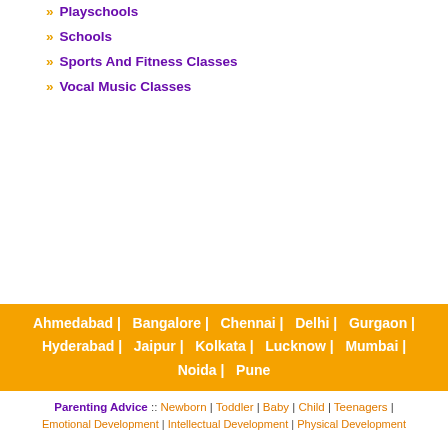» Playschools
» Schools
» Sports And Fitness Classes
» Vocal Music Classes
Ahmedabad | Bangalore | Chennai | Delhi | Gurgaon | Hyderabad | Jaipur | Kolkata | Lucknow | Mumbai | Noida | Pune
Parenting Advice :: Newborn | Toddler | Baby | Child | Teenagers | Emotional Development | Intellectual Development | Physical Development